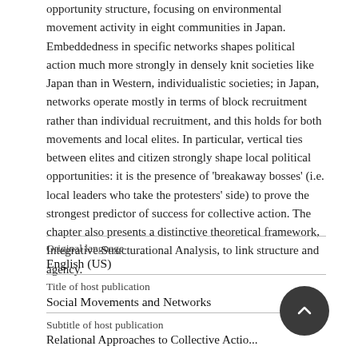opportunity structure, focusing on environmental movement activity in eight communities in Japan. Embeddedness in specific networks shapes political action much more strongly in densely knit societies like Japan than in Western, individualistic societies; in Japan, networks operate mostly in terms of block recruitment rather than individual recruitment, and this holds for both movements and local elites. In particular, vertical ties between elites and citizen strongly shape local political opportunities: it is the presence of 'breakaway bosses' (i.e. local leaders who take the protesters' side) to prove the strongest predictor of success for collective action. The chapter also presents a distinctive theoretical framework, Integrative Structurational Analysis, to link structure and agency.
| Field | Value |
| --- | --- |
| Original language | English (US) |
| Title of host publication | Social Movements and Networks |
| Subtitle of host publication | Relational Approaches to Collective Action |